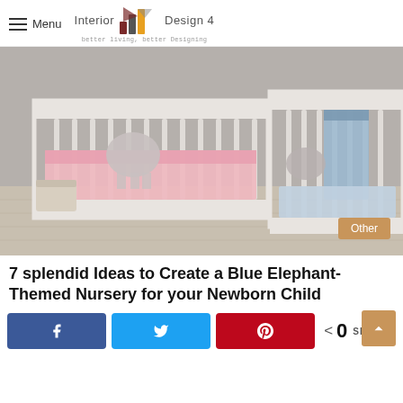Menu | Interior Design 4 — better living, better Designing
[Figure (photo): Two white baby cribs with elephant-themed bedding sets — one pink and one blue — displayed in a nursery room with grey walls and light wood floors. An 'Other' category badge appears in the bottom right corner.]
7 splendid Ideas to Create a Blue Elephant-Themed Nursery for your Newborn Child
< 0 SHARES